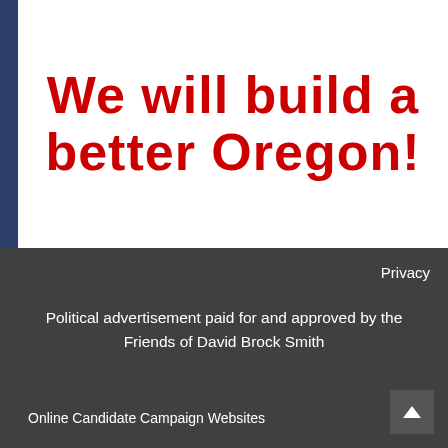We will build a better Oregon!
Privacy
Political advertisement paid for and approved by the Friends of David Brock Smith
Online Candidate Campaign Websites